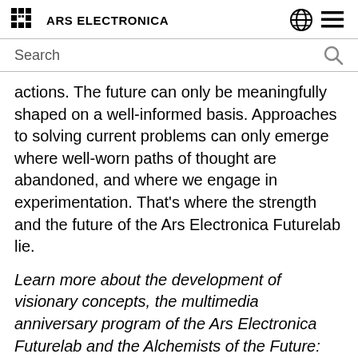ARS ELECTRONICA
Search
actions. The future can only be meaningfully shaped on a well-informed basis. Approaches to solving current problems can only emerge where well-worn paths of thought are abandoned, and where we engage in experimentation. That's where the strength and the future of the Ars Electronica Futurelab lie.
Learn more about the development of visionary concepts, the multimedia anniversary program of the Ars Electronica Futurelab and the Alchemists of the Future: With igniting Morning Inspirations, a journey through the lab's art and science from the eponymous exhibition Alchmists of the Future and electrifying Night Performances on Futurelab Day, September 9, as part of the Ars Electronica Festival 2024...